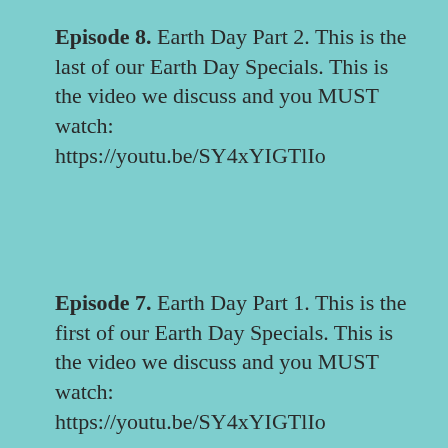Episode 8. Earth Day Part 2. This is the last of our Earth Day Specials. This is the video we discuss and you MUST watch: https://youtu.be/SY4xYIGTlIo
Episode 7. Earth Day Part 1. This is the first of our Earth Day Specials. This is the video we discuss and you MUST watch: https://youtu.be/SY4xYIGTlIo